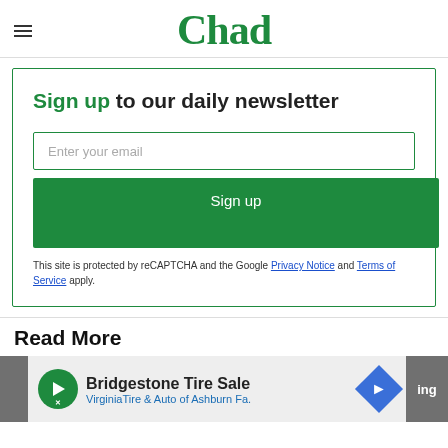Chad
Sign up to our daily newsletter
Enter your email
Sign up
This site is protected by reCAPTCHA and the Google Privacy Notice and Terms of Service apply.
Read More
Bridgestone Tire Sale VirginiaTire & Auto of Ashburn Fa.